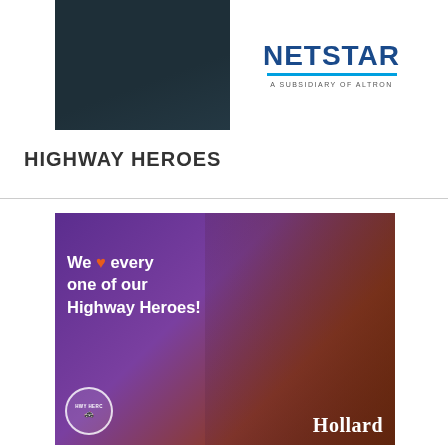[Figure (photo): Dark background photo (vehicle or dark scene) on the left, with Netstar logo (A Subsidiary of Altron) on the right — top banner area]
HIGHWAY HEROES
[Figure (photo): Purple-toned promotional image with smiling truck driver, text reading 'We [heart] every one of our Highway Heroes!', Highway Heroes badge bottom left, Hollard branding bottom right]